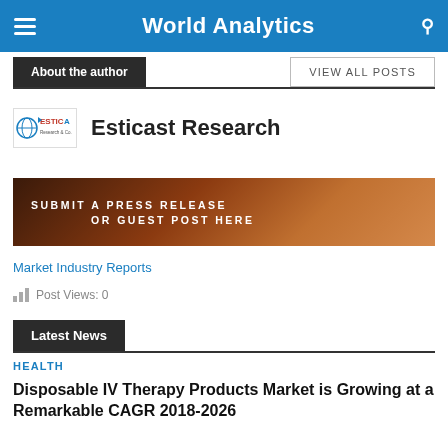World Analytics
About the author
VIEW ALL POSTS
[Figure (logo): Esticast Research logo — stylized globe with ESTICA text]
Esticast Research
[Figure (infographic): Banner reading SUBMIT A PRESS RELEASE OR GUEST POST HERE over autumn leaves background]
Market Industry Reports
Post Views: 0
Latest News
HEALTH
Disposable IV Therapy Products Market is Growing at a Remarkable CAGR 2018-2026